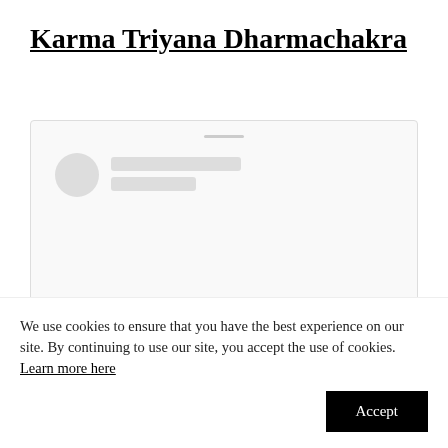Karma Triyana Dharmachakra
[Figure (screenshot): A loading/skeleton placeholder screenshot showing a circular profile image placeholder, two grey skeleton bars for text, and a scroll-up button at the bottom right, all within a light grey bordered card.]
We use cookies to ensure that you have the best experience on our site. By continuing to use our site, you accept the use of cookies. Learn more here
Accept